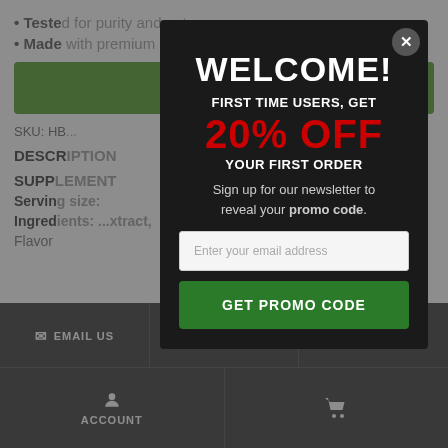• Tested for purity and potency
• Made with premium ingredients
SKU: HB... t CBD Oil
DESCRIPTION
SUPPLEMENT
Serving size:
Ingredients: ...extract, Flavor
WELCOME!
FIRST TIME USERS, GET
20% OFF
YOUR FIRST ORDER
Sign up for our newsletter to reveal your promo code.
Enter your email address
GET PROMO CODE
EMAIL US   CALL US   PRIVACY
ACCOUNT   (cart icon)